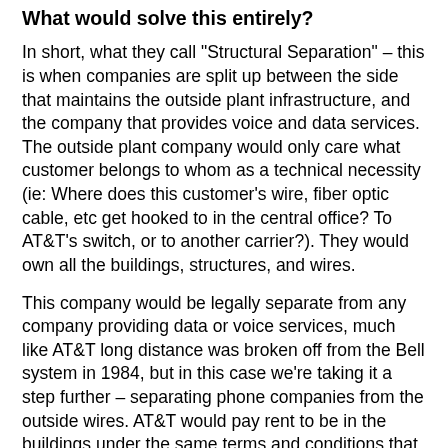What would solve this entirely?
In short, what they call "Structural Separation" – this is when companies are split up between the side that maintains the outside plant infrastructure, and the company that provides voice and data services. The outside plant company would only care what customer belongs to whom as a technical necessity (ie: Where does this customer's wire, fiber optic cable, etc get hooked to in the central office? To AT&T's switch, or to another carrier?). They would own all the buildings, structures, and wires.
This company would be legally separate from any company providing data or voice services, much like AT&T long distance was broken off from the Bell system in 1984, but in this case we're taking it a step further – separating phone companies from the outside wires. AT&T would pay rent to be in the buildings under the same terms and conditions that competing carriers do, and be subject to the same outside plant conditions that the other carriers would.